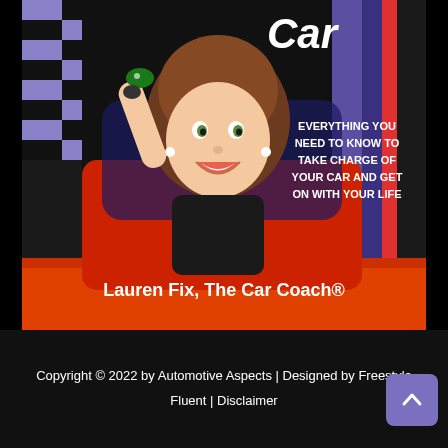[Figure (illustration): Book cover illustration: cartoon woman (Lauren Fix, The Car Coach) sitting in a red sports car, holding car keys, with checkered flag pattern on left side, purple/blue background stripes on right, and text 'EVERYTHING YOU NEED TO KNOW TO TAKE CHARGE OF YOUR CAR AND GET ON WITH YOUR LIFE' on right side. Orange banner at bottom reads 'Lauren Fix, The Car Coach®'.]
Copyright © 2022 by Automotive Aspects | Designed by Freestyle Fluent | Disclaimer